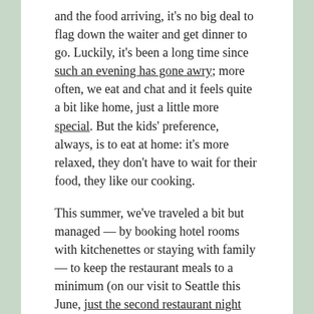and the food arriving, it's no big deal to flag down the waiter and get dinner to go. Luckily, it's been a long time since such an evening has gone awry; more often, we eat and chat and it feels quite a bit like home, just a little more special. But the kids' preference, always, is to eat at home: it's more relaxed, they don't have to wait for their food, they like our cooking.
This summer, we've traveled a bit but managed — by booking hotel rooms with kitchenettes or staying with family — to keep the restaurant meals to a minimum (on our visit to Seattle this June, just the second restaurant night made Eli mournful). Tony researched spots that looked good — Italian and Asian restaurants tend to offer a good variety for our choosy, vegetarian kids — and we've been eating well. I've been remembering the mom I used to be, who would sweep the fragile glassware into the middle of the table, far from a toddler's grasping reach, or who would set the high chair far from the tempting tablecloth. I'm grateful for older kids who (mostly) sit politely and use the kid's menu now (mostly) just for drawing.
Kid's menus certainly offer a welcome landing spot, a sign — as surely as highchairs and lidded cups — that the restaurant